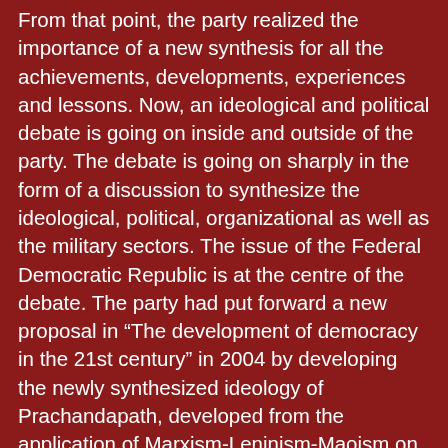From that point, the party realized the importance of a new synthesis for all the achievements, developments, experiences and lessons. Now, an ideological and political debate is going on inside and outside of the party. The debate is going on sharply in the form of a discussion to synthesize the ideological, political, organizational as well as the military sectors. The issue of the Federal Democratic Republic is at the centre of the debate. The party had put forward a new proposal in “The development of democracy in the 21st century” in 2004 by developing the newly synthesized ideology of Prachandapath, developed from the application of Marxism-Leninism-Maoism on the soil of Nepal. The new proposal was forwarded through a 12-point understanding to the Constituent Assembly and the people have ratified it. Our party has become the largest party in the Constituent Assembly through multi-party competition. It has already been agreed, in essence, for ‘the development of democracy in the 21st century’: things such as the republic, multiparty competition, federalism etc. However, there are efforts to overturn the decisions that have already been reached by the agreement and are ratified. I am trying to synthesise the main issues to advance the discussion